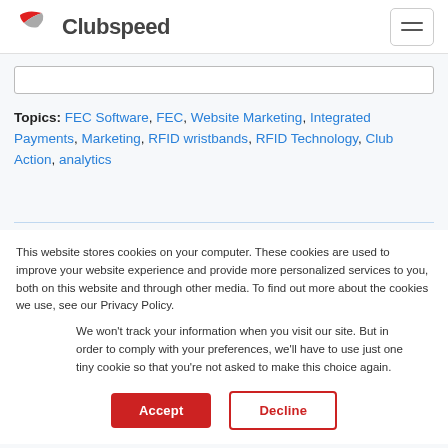Clubspeed
[Figure (screenshot): Search input box]
Topics: FEC Software, FEC, Website Marketing, Integrated Payments, Marketing, RFID wristbands, RFID Technology, Club Action, analytics
This website stores cookies on your computer. These cookies are used to improve your website experience and provide more personalized services to you, both on this website and through other media. To find out more about the cookies we use, see our Privacy Policy.
We won't track your information when you visit our site. But in order to comply with your preferences, we'll have to use just one tiny cookie so that you're not asked to make this choice again.
Accept
Decline